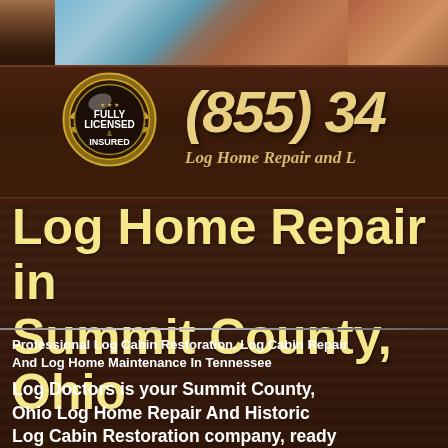[Figure (photo): Top banner showing log home / cabin exterior with blue sky and brown roof, partially visible]
[Figure (logo): Gold circular badge/emblem with text FULLY LICENSED & INSURED surrounded by laurel wreath design]
(855) 34
Log Home Repair and L
Log Home Repair in Summit County, Ohio
Professional Log Cabin Restoration, Log Cabin Repair And Log Home Maintenance In Tennessee
Log Doctors is your Summit County, Ohio Log Home Repair And Historic Log Cabin Restoration company, ready to provide professional log home restoration services, quality craftsmanship, and a wide array of log home maintenance products in